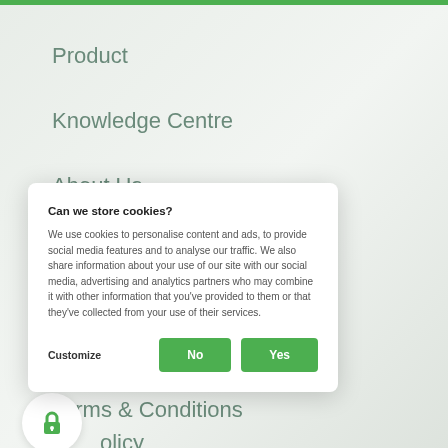Product
Knowledge Centre
About Us
How It Works
Careers
Can we store cookies?
We use cookies to personalise content and ads, to provide social media features and to analyse our traffic. We also share information about your use of our site with our social media, advertising and analytics partners who may combine it with other information that you've provided to them or that they've collected from your use of their services.
Customize  No  Yes
Terms & Conditions
Privacy Policy
Data Aggregation